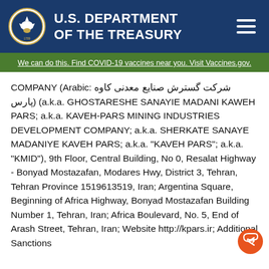U.S. DEPARTMENT OF THE TREASURY
We can do this. Find COVID-19 vaccines near you. Visit Vaccines.gov.
COMPANY (Arabic: شرکت گسترش صنایع معدنی کاوه پارس) (a.k.a. GHOSTARESHE SANAYIE MADANI KAWEH PARS; a.k.a. KAVEH-PARS MINING INDUSTRIES DEVELOPMENT COMPANY; a.k.a. SHERKATE SANAYE MADANIYE KAVEH PARS; a.k.a. "KAVEH PARS"; a.k.a. "KMID"), 9th Floor, Central Building, No 0, Resalat Highway - Bonyad Mostazafan, Modares Hwy, District 3, Tehran, Tehran Province 1519613519, Iran; Argentina Square, Beginning of Africa Highway, Bonyad Mostazafan Building Number 1, Tehran, Iran; Africa Boulevard, No. 5, End of Arash Street, Tehran, Iran; Website http://kpars.ir; Additional Sanctions